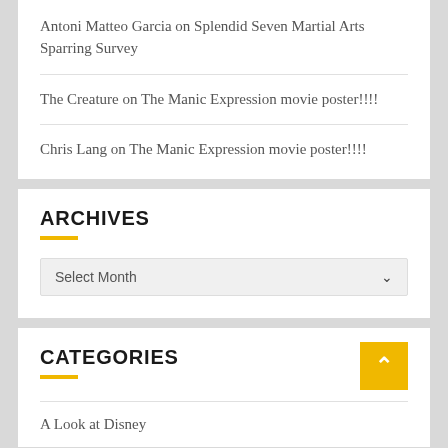Antoni Matteo Garcia on Splendid Seven Martial Arts Sparring Survey
The Creature on The Manic Expression movie poster!!!!
Chris Lang on The Manic Expression movie poster!!!!
ARCHIVES
Select Month
CATEGORIES
A Look at Disney